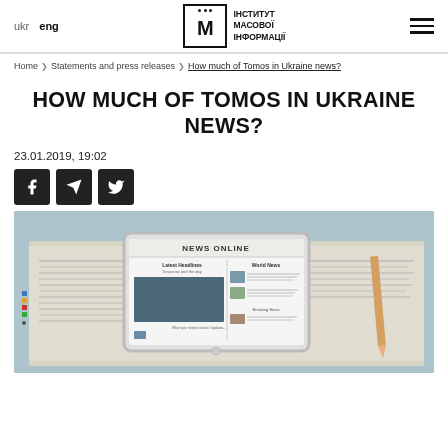ukr  eng | ІНСТИТУТ МАСОВОЇ ІНФОРМАЦІЇ | [hamburger menu]
Home > Statements and press releases > How much of Tomos in Ukraine news?
HOW MUCH OF TOMOS IN UKRAINE NEWS?
23.01.2019, 19:02
[Figure (other): Social sharing icons: Facebook, Telegram, Twitter]
[Figure (photo): Photo of a tablet showing a news website titled NEWS ONLINE, placed on top of printed newspapers]